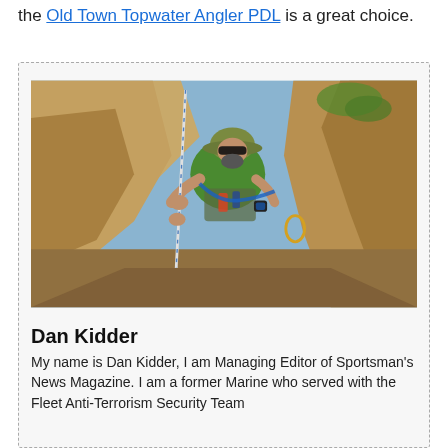the Old Town Topwater Angler PDL is a great choice.
[Figure (photo): Man wearing a hat, sunglasses, and green shirt with climbing/rappelling harness holding a rope in a rocky canyon setting with blue sky visible.]
Dan Kidder
My name is Dan Kidder, I am Managing Editor of Sportsman's News Magazine. I am a former Marine who served with the Fleet Anti-Terrorism Security Team